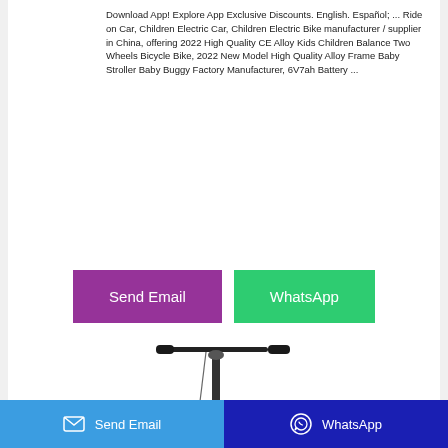Download App! Explore App Exclusive Discounts. English. Español; ... Ride on Car, Children Electric Car, Children Electric Bike manufacturer / supplier in China, offering 2022 High Quality CE Alloy Kids Children Balance Two Wheels Bicycle Bike, 2022 New Model High Quality Alloy Frame Baby Stroller Baby Buggy Factory Manufacturer, 6V7ah Battery ...
[Figure (other): Two call-to-action buttons: purple 'Send Email' button and green 'WhatsApp' button]
[Figure (photo): Electric scooter handlebar and stem visible against white background]
Send Email   WhatsApp